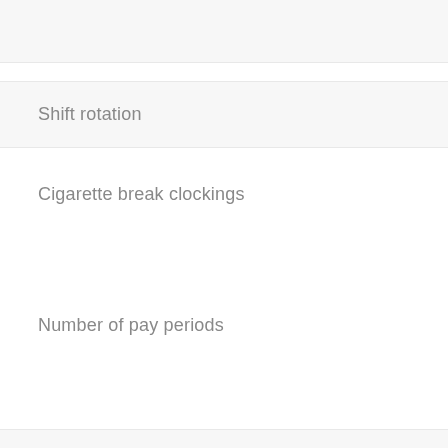Shift rotation
Cigarette break clockings
Number of pay periods